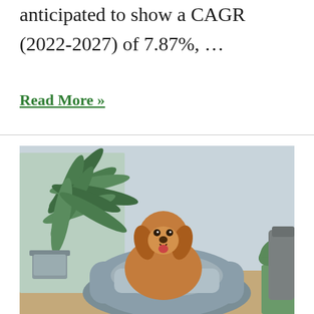anticipated to show a CAGR (2022-2027) of 7.87%, …
Read More »
[Figure (photo): A golden-brown dog sitting in a grey pet bed/bean bag, wrapped in a grey blanket, with large green palm plants and a metal bucket planter on the left, a grey sofa partially visible on the right, against a light grey-blue wall background.]